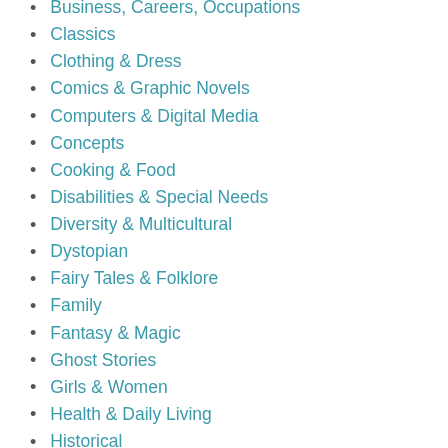Business, Careers, Occupations
Classics
Clothing & Dress
Comics & Graphic Novels
Computers & Digital Media
Concepts
Cooking & Food
Disabilities & Special Needs
Diversity & Multicultural
Dystopian
Fairy Tales & Folklore
Family
Fantasy & Magic
Ghost Stories
Girls & Women
Health & Daily Living
Historical
Holidays & Celebrations
Horror
Humorous Stories
Imagination & Play